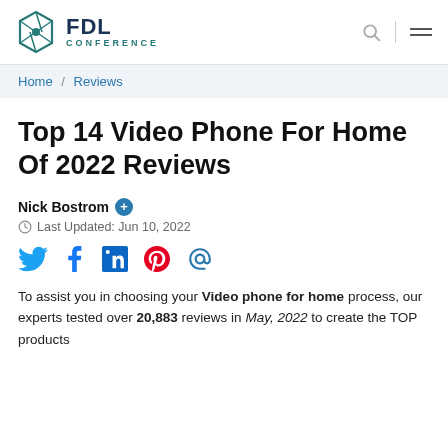FDL CONFERENCE
Home / Reviews
Top 14 Video Phone For Home Of 2022 Reviews
Nick Bostrom — Last Updated: Jun 10, 2022
[Figure (infographic): Social media share icons: Twitter (blue bird), Facebook (f), LinkedIn (in), Pinterest (red P), Email (@)]
To assist you in choosing your Video phone for home process, our experts tested over 20,883 reviews in May, 2022 to create the TOP products